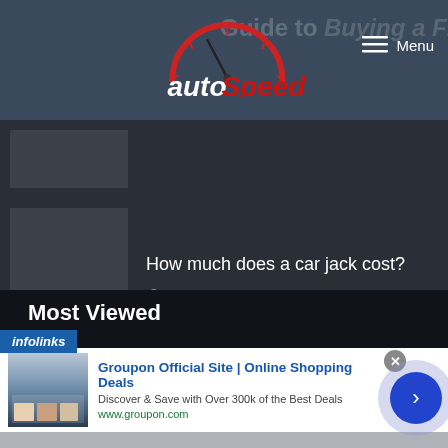autoSpeed — Menu
[Figure (screenshot): Partially visible article thumbnail (dark gray rectangle)]
How much does a car jack cost?
January 23, 2022
Most Viewed
[Figure (screenshot): Infolinks advertisement banner for Groupon: 'Groupon Official Site | Online Shopping Deals — Discover & Save with Over 300k of the Best Deals — www.groupon.com']
Groupon Official Site | Online Shopping Deals
Discover & Save with Over 300k of the Best Deals
www.groupon.com